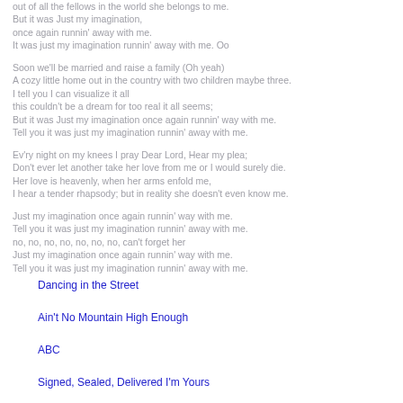out of all the fellows in the world she belongs to me.
But it was Just my imagination,
once again runnin' away with me.
It was just my imagination runnin' away with me. Oo
Soon we'll be married and raise a family (Oh yeah)
A cozy little home out in the country with two children maybe three.
I tell you I can visualize it all
this couldn't be a dream for too real it all seems;
But it was Just my imagination once again runnin' way with me.
Tell you it was just my imagination runnin' away with me.
Ev'ry night on my knees I pray Dear Lord, Hear my plea;
Don't ever let another take her love from me or I would surely die.
Her love is heavenly, when her arms enfold me,
I hear a tender rhapsody; but in reality she doesn't even know me.
Just my imagination once again runnin' way with me.
Tell you it was just my imagination runnin' away with me.
no, no, no, no, no, no, no, can't forget her
Just my imagination once again runnin' way with me.
Tell you it was just my imagination runnin' away with me.
Dancing in the Street
Ain't No Mountain High Enough
ABC
Signed, Sealed, Delivered I'm Yours